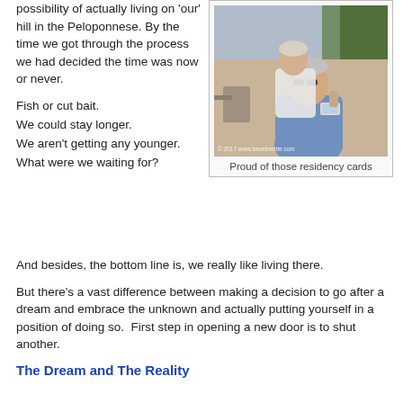possibility of actually living on 'our' hill in the Peloponnese. By the time we got through the process we had decided the time was now or never.
Fish or cut bait.
We could stay longer.
We aren't getting any younger.
What were we waiting for?
[Figure (photo): A couple outdoors, smiling and holding up residency cards. Watermark: © 2017 www.travelnwrite.com]
Proud of those residency cards
And besides, the bottom line is, we really like living there.
But there's a vast difference between making a decision to go after a dream and embrace the unknown and actually putting yourself in a position of doing so.  First step in opening a new door is to shut another.
The Dream and The Reality